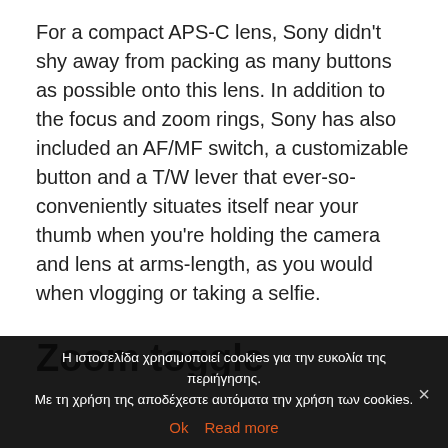For a compact APS-C lens, Sony didn't shy away from packing as many buttons as possible onto this lens. In addition to the focus and zoom rings, Sony has also included an AF/MF switch, a customizable button and a T/W lever that ever-so-conveniently situates itself near your thumb when you're holding the camera and lens at arms-length, as you would when vlogging or taking a selfie.
Zoom toggle
[Figure (photo): Blurred outdoor photo showing green foliage and warm skin tones, partially visible behind cookie consent banner]
Η ιστοσελίδα χρησιμοποιεί cookies για την ευκολία της περιήγησης. Με τη χρήση της αποδέχεστε αυτόματα την χρήση των cookies. Ok  Read more